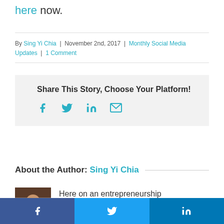here now.
By Sing Yi Chia | November 2nd, 2017 | Monthly Social Media Updates | 1 Comment
Share This Story, Choose Your Platform!
[Figure (infographic): Social share icons: Facebook (f), Twitter (bird), LinkedIn (in), Email (envelope)]
About the Author: Sing Yi Chia
[Figure (photo): Headshot photo of Sing Yi Chia]
Here on an entrepreneurship
[Figure (infographic): Bottom social share bar with Facebook, Twitter, and LinkedIn buttons]